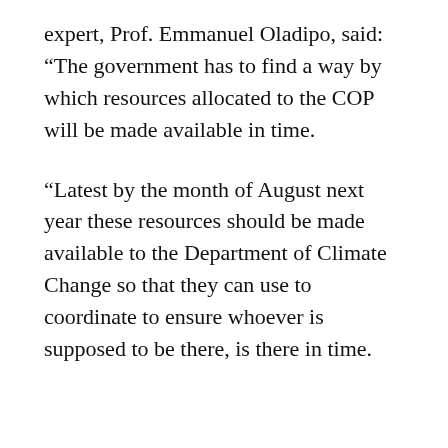expert, Prof. Emmanuel Oladipo, said: “The government has to find a way by which resources allocated to the COP will be made available in time.
“Latest by the month of August next year these resources should be made available to the Department of Climate Change so that they can use to coordinate to ensure whoever is supposed to be there, is there in time.